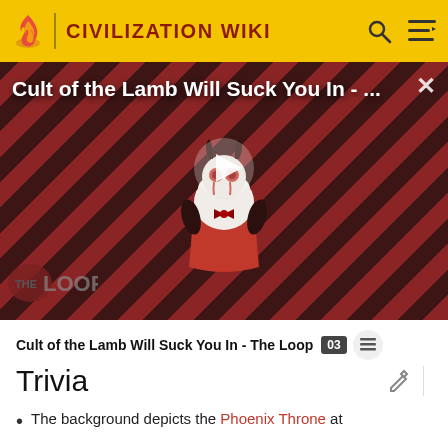CIVILIZATION WIKI
[Figure (screenshot): Video thumbnail for 'Cult of the Lamb Will Suck You In - The Loop' showing a cartoon lamb character on a red striped background with a play button overlay and 'THE LOOP' branding]
Cult of the Lamb Will Suck You In - The Loop
Trivia
The background depicts the Phoenix Throne at